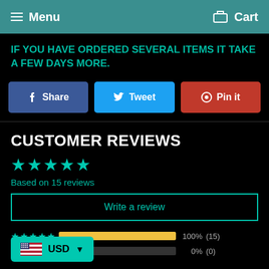Menu  Cart
IF YOU HAVE ORDERED SEVERAL ITEMS IT TAKE A FEW DAYS MORE.
[Figure (other): Social share buttons: Share (Facebook), Tweet (Twitter), Pin it (Pinterest)]
CUSTOMER REVIEWS
Based on 15 reviews
Write a review
100%  (15)
0%  (0)
[Figure (other): Currency selector widget showing USD with US flag]